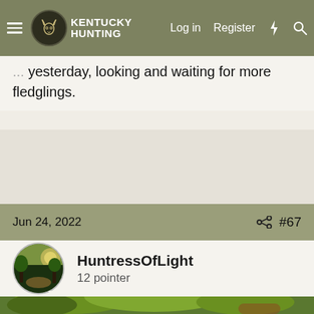Kentucky Hunting — Log in  Register
yesterday, looking and waiting for more fledglings.
Jun 24, 2022  #67
HuntressOfLight
12 pointer
[Figure (photo): Outdoor photo showing a brown dog standing under a tree with green leafy branches in a park-like setting]